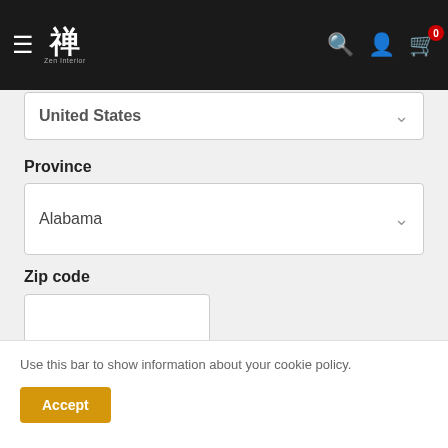Zen Interior navigation bar with logo, search, account, and cart icons
United States
Province
Alabama
Zip code
Estimate
Use this bar to show information about your cookie policy.
Accept